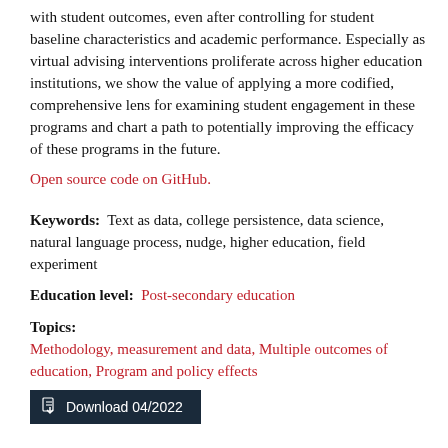with student outcomes, even after controlling for student baseline characteristics and academic performance. Especially as virtual advising interventions proliferate across higher education institutions, we show the value of applying a more codified, comprehensive lens for examining student engagement in these programs and chart a path to potentially improving the efficacy of these programs in the future.
Open source code on GitHub.
Keywords: Text as data, college persistence, data science, natural language process, nudge, higher education, field experiment
Education level: Post-secondary education
Topics: Methodology, measurement and data, Multiple outcomes of education, Program and policy effects
Download 04/2022